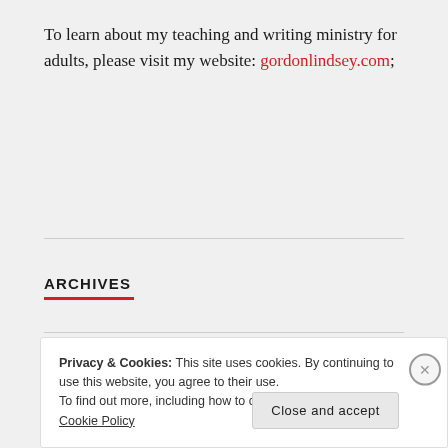To learn about my teaching and writing ministry for adults, please visit my website: gordonlindsey.com;
ARCHIVES
August 2022
July 2022
Privacy & Cookies: This site uses cookies. By continuing to use this website, you agree to their use. To find out more, including how to control cookies, see here: Cookie Policy
Close and accept